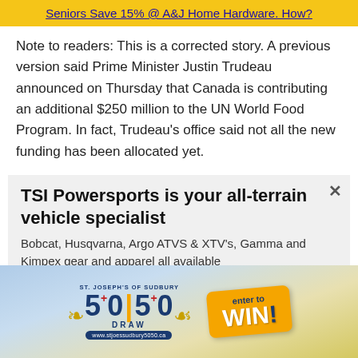Seniors Save 15% @ A&J Home Hardware. How?
Note to readers: This is a corrected story. A previous version said Prime Minister Justin Trudeau announced on Thursday that Canada is contributing an additional $250 million to the UN World Food Program. In fact, Trudeau's office said not all the new funding has been allocated yet.
TSI Powersports is your all-terrain vehicle specialist
Bobcat, Husqvarna, Argo ATVS & XTV's, Gamma and Kimpex gear and apparel all available
[Figure (infographic): St. Joseph's of Sudbury 50+50 Draw advertisement with golden wings, lottery ticket graphic showing 'enter to WIN!', and website www.stjoessudbury5050.ca]